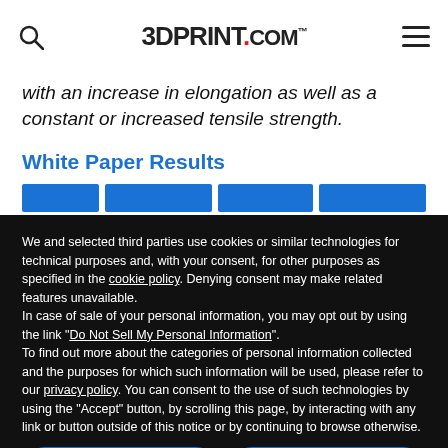3DPrint.com
with an increase in elongation as well as a constant or increased tensile strength.
White Paper Results
[Figure (table-as-image): Partial view of a table with blue header columns, partially obscured by cookie overlay]
We and selected third parties use cookies or similar technologies for technical purposes and, with your consent, for other purposes as specified in the cookie policy. Denying consent may make related features unavailable.
In case of sale of your personal information, you may opt out by using the link "Do Not Sell My Personal Information".
To find out more about the categories of personal information collected and the purposes for which such information will be used, please refer to our privacy policy. You can consent to the use of such technologies by using the “Accept” button, by scrolling this page, by interacting with any link or button outside of this notice or by continuing to browse otherwise.
Reject
Accept
Learn more and customize